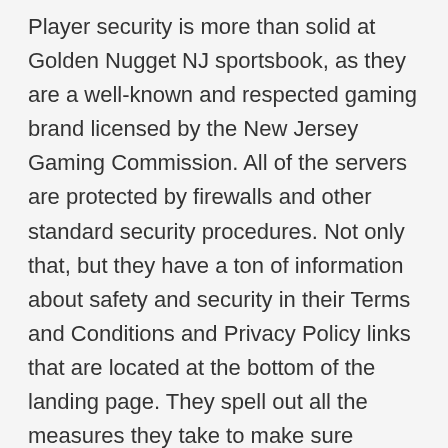Player security is more than solid at Golden Nugget NJ sportsbook, as they are a well-known and respected gaming brand licensed by the New Jersey Gaming Commission. All of the servers are protected by firewalls and other standard security procedures. Not only that, but they have a ton of information about safety and security in their Terms and Conditions and Privacy Policy links that are located at the bottom of the landing page. They spell out all the measures they take to make sure player's information is 100% safe and secure and they do not share any information with third parties. They really go out of their way to show players what they do with their information once given to them to ensure players not only have the best sports wagering experience but are 100% safe and secure